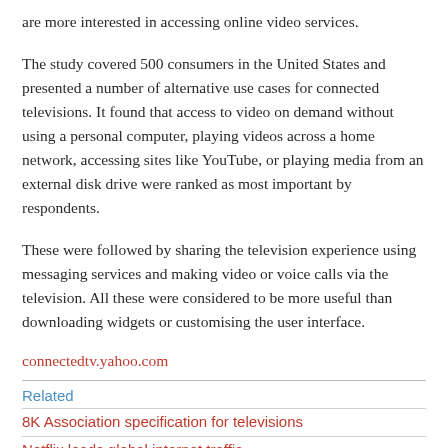are more interested in accessing online video services.
The study covered 500 consumers in the United States and presented a number of alternative use cases for connected televisions. It found that access to video on demand without using a personal computer, playing videos across a home network, accessing sites like YouTube, or playing media from an external disk drive were ranked as most important by respondents.
These were followed by sharing the television experience using messaging services and making video or voice calls via the television. All these were considered to be more useful than downloading widgets or customising the user interface.
connectedtv.yahoo.com
Related
8K Association specification for televisions
Netflix leads global internet traffic